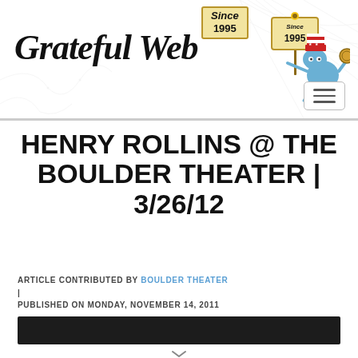Grateful Web — Since 1995
HENRY ROLLINS @ THE BOULDER THEATER | 3/26/12
ARTICLE CONTRIBUTED BY BOULDER THEATER | PUBLISHED ON MONDAY, NOVEMBER 14, 2011
[Figure (photo): Dark image bar, partial article image placeholder]